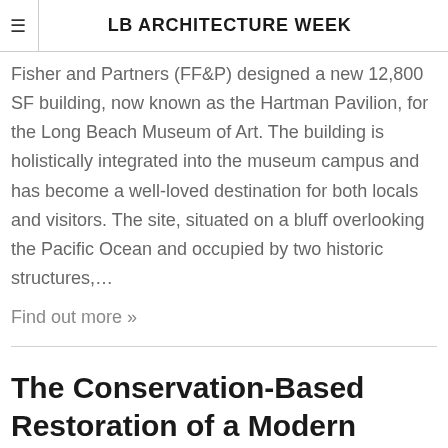LB ARCHITECTURE WEEK
Fisher and Partners (FF&P) designed a new 12,800 SF building, now known as the Hartman Pavilion, for the Long Beach Museum of Art. The building is holistically integrated into the museum campus and has become a well-loved destination for both locals and visitors. The site, situated on a bluff overlooking the Pacific Ocean and occupied by two historic structures,…
Find out more »
The Conservation-Based Restoration of a Modern Masterwork